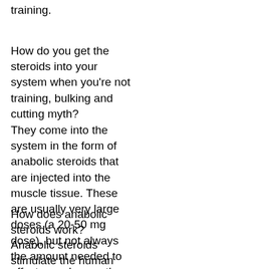training.
How do you get the steroids into your system when you're not training, bulking and cutting myth?
They come into the system in the form of anabolic steroids that are injected into the muscle tissue. These are usually very large doses (a 20-50 mg dose), but not always the amount needed to affect muscle growth, bulking and cutting myth.
How does anabolic steroids work?
Anabolic steroids stimulate the human body to produce an hormone called Trenbolone which is known to increase muscle growth and growth of muscle mass.